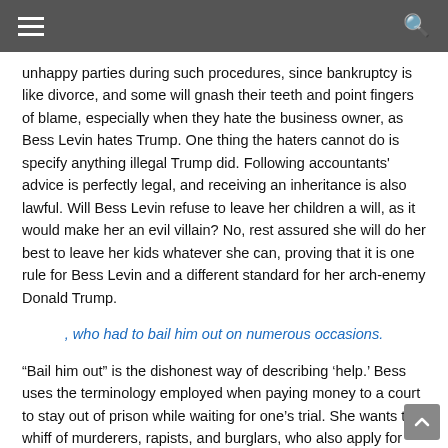unhappy parties during such procedures, since bankruptcy is like divorce, and some will gnash their teeth and point fingers of blame, especially when they hate the business owner, as Bess Levin hates Trump. One thing the haters cannot do is specify anything illegal Trump did. Following accountants' advice is perfectly legal, and receiving an inheritance is also lawful. Will Bess Levin refuse to leave her children a will, as it would make her an evil villain? No, rest assured she will do her best to leave her kids whatever she can, proving that it is one rule for Bess Levin and a different standard for her arch-enemy Donald Trump.
, who had to bail him out on numerous occasions.
“Bail him out” is the dishonest way of describing ‘help.’ Bess uses the terminology employed when paying money to a court to stay out of prison while waiting for one’s trial. She wants the whiff of murderers, rapists, and burglars, who also apply for bail, to rub off on Trump. She will probably say, “It’s just an expression,” but wait—notice she never lets Trump use such expressions. Again